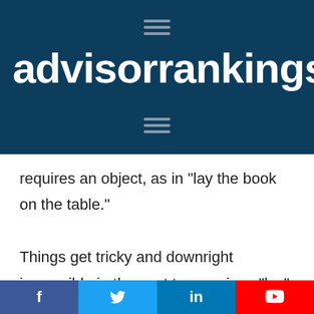[Figure (logo): advisorrankings.io logo on dark blue background with hamburger menu icons]
requires an object, as in “lay the book on the table.”

Things get tricky and downright impossible in the past tense, since “lay” is the past tense of “lie.” Unless you’re a true grammar nerd, I recommend looking up the proper
[Figure (infographic): Social media share bar with Facebook, Twitter, LinkedIn, and YouTube icons]